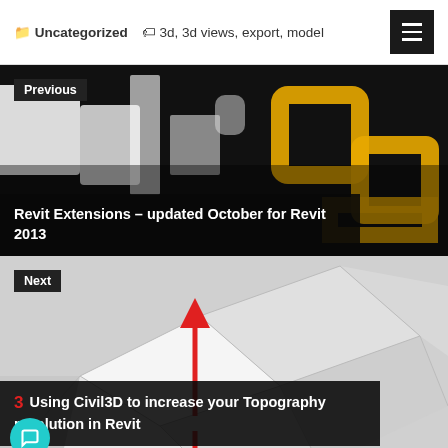Uncategorized  3d, 3d views, export, model
[Figure (screenshot): Previous post thumbnail: blurred SketchUp logo with black and orange elements on dark background]
Previous
Revit Extensions – updated October for Revit 2013
[Figure (screenshot): Next post thumbnail: white geometric topography model with red arrow pointing up, on light background]
Next
Using Civil3D to increase your Topography resolution in Revit